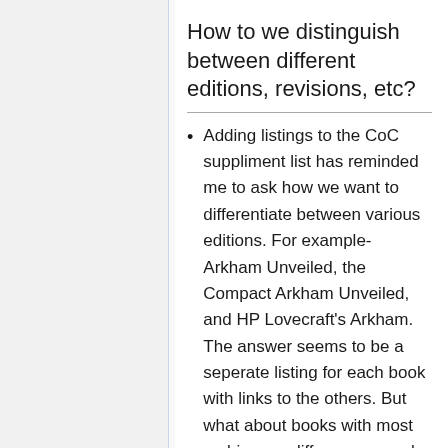How to we distinguish between different editions, revisions, etc?
Adding listings to the CoC suppliment list has reminded me to ask how we want to differentiate between various editions. For example- Arkham Unveiled, the Compact Arkham Unveiled, and HP Lovecraft's Arkham. The answer seems to be a seperate listing for each book with links to the others. But what about books with most ambiguous differences- such as the 1st and 2nd printing of The Asylum. As far as I know the only difference is the product number and year published. Do we have a singular